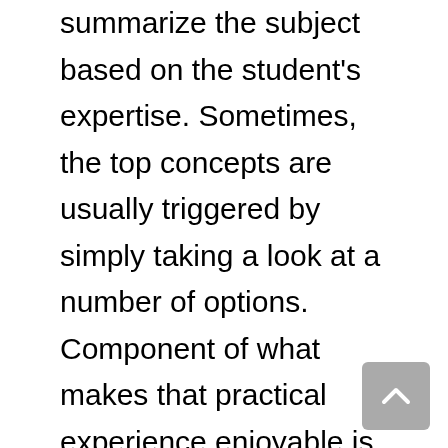summarize the subject based on the student's expertise. Sometimes, the top concepts are usually triggered by simply taking a look at a number of options. Component of what makes that practical experience enjoyable is definitely studying a new challenge.
Some individuals may well mix up argumentative along with gripping documents; you ought to remember that they may be several types of educative forms. Helping your target audience spent on an emotional level could go